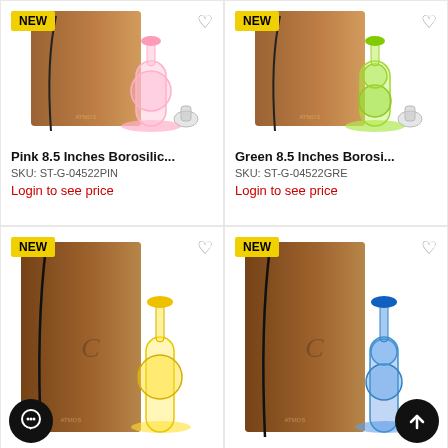[Figure (photo): Pink 8.5 Inches Borosilicate glass water pipe with pink accents, shown with box and bowl piece. NEW badge top-left, heart icon top-right.]
Pink 8.5 Inches Borosilic...
SKU: ST-G-04522PIN
Login to see price
[Figure (photo): Green 8.5 Inches Borosilicate glass water pipe with green accents, shown with box and bowl piece. NEW badge top-left, heart icon top-right.]
Green 8.5 Inches Borosi...
SKU: ST-G-04522GRE
Login to see price
[Figure (photo): Yellow-colored glass water pipe with yellow accents and box. NEW badge top-left, heart icon top-right. Chat bubble button bottom-left.]
[Figure (photo): Blue-colored glass water pipe with blue accents and box. NEW badge top-left, heart icon top-right. Scroll-to-top button bottom-right.]